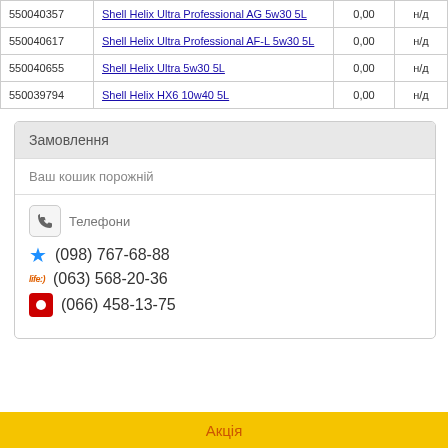|  |  | 0,00 | н/д |
| --- | --- | --- | --- |
| 550040357 | Shell Helix Ultra Professional AG 5w30 5L | 0,00 | н/д |
| 550040617 | Shell Helix Ultra Professional AF-L 5w30 5L | 0,00 | н/д |
| 550040655 | Shell Helix Ultra 5w30 5L | 0,00 | н/д |
| 550039794 | Shell Helix HX6 10w40 5L | 0,00 | н/д |
Замовлення
Ваш кошик порожній
Телефони
(098) 767-68-88
(063) 568-20-36
(066) 458-13-75
Акція